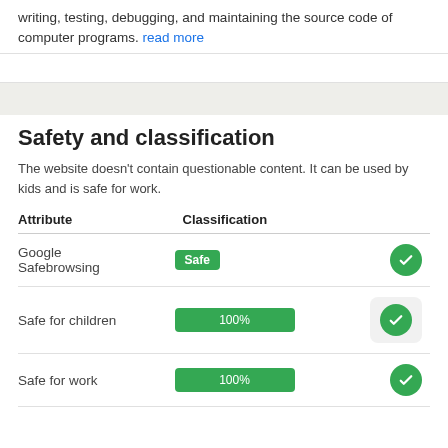writing, testing, debugging, and maintaining the source code of computer programs. read more
Safety and classification
The website doesn't contain questionable content. It can be used by kids and is safe for work.
| Attribute | Classification |  |
| --- | --- | --- |
| Google Safebrowsing | Safe | ✓ |
| Safe for children | 100% | ✓ |
| Safe for work | 100% | ✓ |